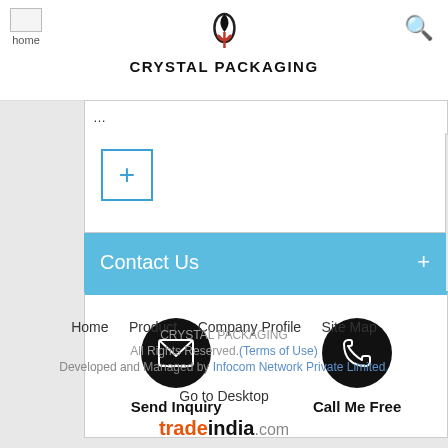CRYSTAL PACKAGING
[Figure (logo): Crystal Packaging logo with stylized S/fish icon above bold text CRYSTAL PACKAGING]
+
Contact Us +
[Figure (infographic): Two circular black icons: envelope (Send Inquiry) and phone (Call Me Free)]
Send Inquiry
Call Me Free
Home   Product   Company Profile   Site Map
CRYSTAL PACKAGING
All Rights Reserved.(Terms of Use)
Developed and Managed by Infocom Network Private Limited.
Go to Desktop
tradeindia.com